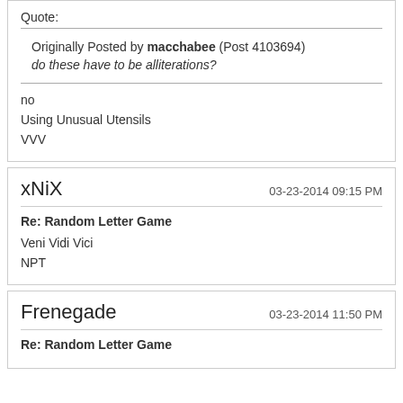Quote:
Originally Posted by macchabee (Post 4103694)
do these have to be alliterations?
no
Using Unusual Utensils
VVV
xNiX
03-23-2014 09:15 PM
Re: Random Letter Game
Veni Vidi Vici
NPT
Frenegade
03-23-2014 11:50 PM
Re: Random Letter Game